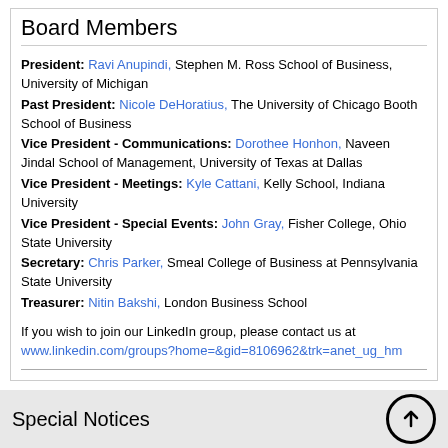Board Members
President: Ravi Anupindi, Stephen M. Ross School of Business, University of Michigan
Past President: Nicole DeHoratius, The University of Chicago Booth School of Business
Vice President - Communications: Dorothee Honhon, Naveen Jindal School of Management, University of Texas at Dallas
Vice President - Meetings: Kyle Cattani, Kelly School, Indiana University
Vice President - Special Events: John Gray, Fisher College, Ohio State University
Secretary: Chris Parker, Smeal College of Business at Pennsylvania State University
Treasurer: Nitin Bakshi, London Business School
If you wish to join our LinkedIn group, please contact us at www.linkedin.com/groups?home=&gid=8106962&trk=anet_ug_hm
Special Notices